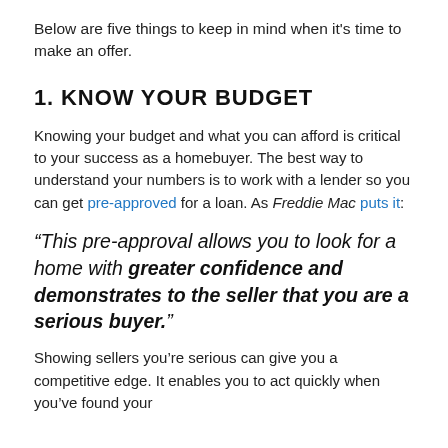Below are five things to keep in mind when it's time to make an offer.
1. KNOW YOUR BUDGET
Knowing your budget and what you can afford is critical to your success as a homebuyer. The best way to understand your numbers is to work with a lender so you can get pre-approved for a loan. As Freddie Mac puts it:
“This pre-approval allows you to look for a home with greater confidence and demonstrates to the seller that you are a serious buyer.”
Showing sellers you’re serious can give you a competitive edge. It enables you to act quickly when you’ve found your